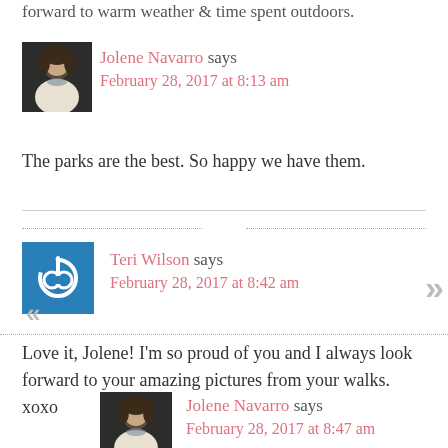forward to warm weather & time spent outdoors.
Jolene Navarro says
February 28, 2017 at 8:13 am
The parks are the best. So happy we have them.
Teri Wilson says
February 28, 2017 at 8:42 am
Love it, Jolene! I’m so proud of you and I always look forward to your amazing pictures from your walks.
xoxo
Jolene Navarro says
February 28, 2017 at 8:47 am